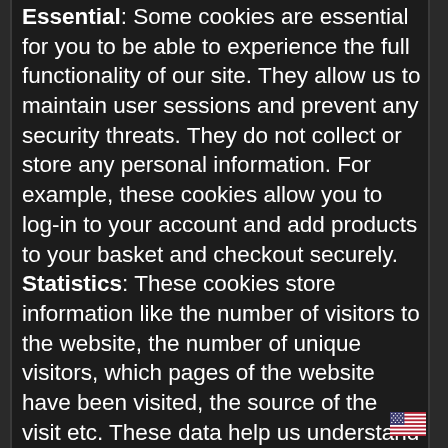Essential: Some cookies are essential for you to be able to experience the full functionality of our site. They allow us to maintain user sessions and prevent any security threats. They do not collect or store any personal information. For example, these cookies allow you to log-in to your account and add products to your basket and checkout securely. Statistics: These cookies store information like the number of visitors to the website, the number of unique visitors, which pages of the website have been visited, the source of the visit etc. These data help us understand and analyze how well the website performs and where it needs improvement. Functional: These are the cookies that help certain non-essential functionalities on our website. These functionalities include embedding content like videos or sharing contents on the website on social media platforms. Preferences: These cookies help us store your settings and
[Figure (illustration): US flag icon in bottom right corner]